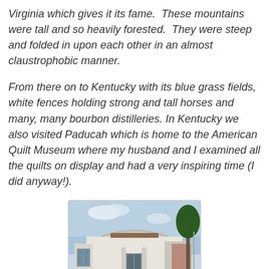Virginia which gives it its fame.  These mountains were tall and so heavily forested.  They were steep and folded in upon each other in an almost claustrophobic manner.
From there on to Kentucky with its blue grass fields, white fences holding strong and tall horses and many, many bourbon distilleries. In Kentucky we also visited Paducah which is home to the American Quilt Museum where my husband and I examined all the quilts on display and had a very inspiring time (I did anyway!).
[Figure (photo): Exterior photo of the American Quilt Museum building in Paducah, Kentucky. A modern white building with a curved roofline, entrance columns, and a curved driveway with green lawn and trees.]